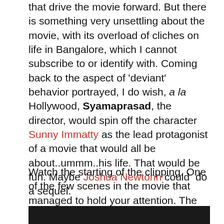that drive the movie forward. But there is something very unsettling about the movie, with its overload of cliches on life in Bangalore, which I cannot subscribe to or identify with. Coming back to the aspect of 'deviant' behavior portrayed, I do wish, a la Hollywood, Syamaprasad, the director, would spin off the character Sunny Immatty as the lead protagonist of a movie that would all be about..ummm..his life. That would be fun. Maybe Joshua Newtonn could do a sequel.
Watch the starting of the clipping. One of the few scenes in the movie that managed to hold your attention. The erotic undercurrent is so thick that you can cut it with a knife.
[Figure (photo): Dark/black video thumbnail or screenshot at the bottom of the page]